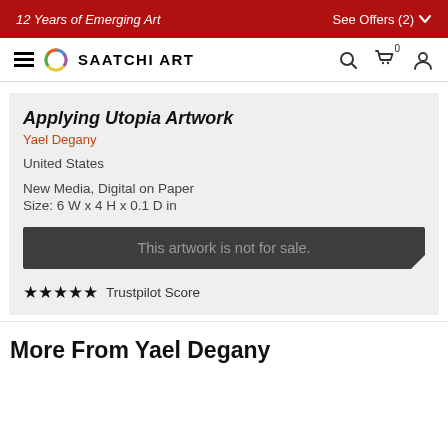12 Years of Emerging Art
See Offers (2)
[Figure (logo): Saatchi Art logo with circular multicolor ring and bold SAATCHI ART wordmark]
Applying Utopia Artwork
Yael Degany
United States
New Media, Digital on Paper
Size: 6 W x 4 H x 0.1 D in
This artwork is not for sale.
★★★★★ Trustpilot Score
More From Yael Degany